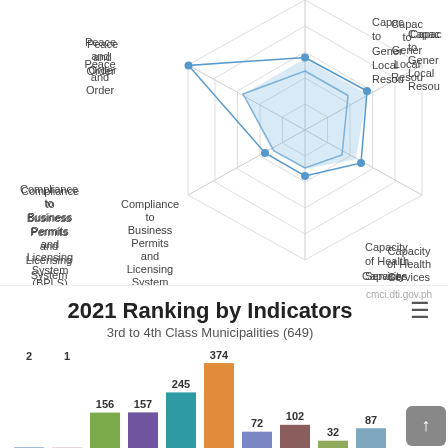[Figure (radar-chart): Partial radar/spider chart showing multiple axes. Two data series plotted (blue lines). Axes: Peace and Order (top-left), Capacity to Generate Local Resources (top-right, truncated), Capacity of Health Services (right), Capacity of School Services (bottom-center), Recognition of Performance (bottom-left), Compliance to Business Permits and Licensing System (BPLS) Standards (left).]
cmci.dti.gov.ph
2021 Ranking by Indicators
3rd to 4th Class Municipalities (649)
[Figure (bar-chart): 2021 Ranking by Indicators - 3rd to 4th Class Municipalities (649)]